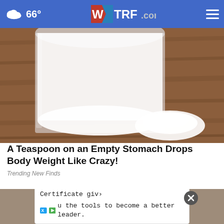66° WTRF.com
[Figure (photo): Close-up photo of a glass jar filled with white powder and a small pile of white powder on a wooden surface]
A Teaspoon on an Empty Stomach Drops Body Weight Like Crazy!
Trending New Finds
[Figure (photo): Partial photo of a child with brown hair and a green bow, with an advertisement overlay from yale-accel.td.org for ATD-Yale Management Excellence Certificate]